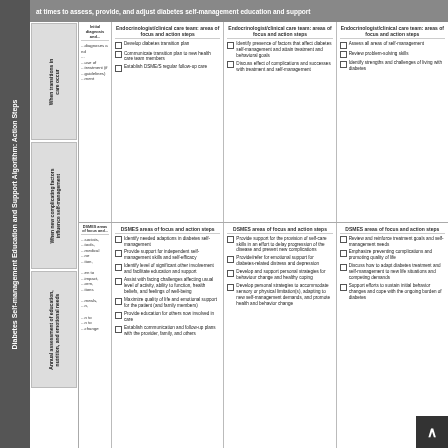Diabetes Self-management Education and Support Algorithm: Action Steps
at times to assess, provide, and adjust diabetes self-management education and support
| When transitions in care occur | When new complicating factors influence self-management | Annual assessment of education, nutrition, and emotional needs | Endocrinologist/clinical care team: areas of focus and action steps |
| --- | --- | --- | --- |
| Develop diabetes transition plan
Communicate transition plan to new health care team members
Establish DSME/S regular follow-up care | Identify presence of factors that affect diabetes self-management and attain treatment and behavioral goals
Discuss effect of complications and successes with treatment and self-management | Assess all areas of self-management
Review problem-solving skills
Identify strengths and challenges of living with diabetes | Partially visible |
| Identify needed adaptions in diabetes self-management
Provide support for independent self-management skills and self-efficacy
Identify level of significant other involvement and facilitate education and support
Assist with facing challenges affecting usual level of activity, ability to function, health beliefs, and feelings of well-being
Maximize quality of life and emotional support for the patient (and family members)
Provide education for others now involved in care
Establish communication and follow-up plans with the provider, family, and others | Provide support for the provision of self-care skills in an effort to delay progression of the disease and prevent new complications
Provide/refer for emotional support for diabetes-related distress and depression
Develop and support personal strategies for behavior change and healthy coping
Develop personal strategies to accommodate sensory or physical limitation(s), adapting to new self-management demands, and promote health and behavior change | Review and reinforce treatment goals and self-management needs
Emphasize preventing complications and promoting quality of life
Discuss how to adapt diabetes treatment and self-management to new life situations and competing demands
Support efforts to sustain initial behavior changes and cope with the ongoing burden of diabetes | Partially visible |